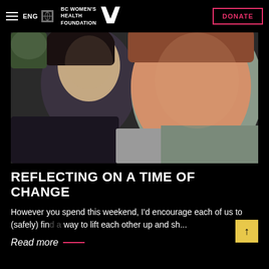ENG | BC Women's Health Foundation — DONATE
[Figure (photo): Close-up selfie of two women smiling, one younger with dark hair leaning on the shoulder of an older woman with reddish-brown hair, both wearing athletic clothing outdoors.]
REFLECTING ON A TIME OF CHANGE
However you spend this weekend, I'd encourage each of us to (safely) find a way to lift each other up and sh...
Read more —